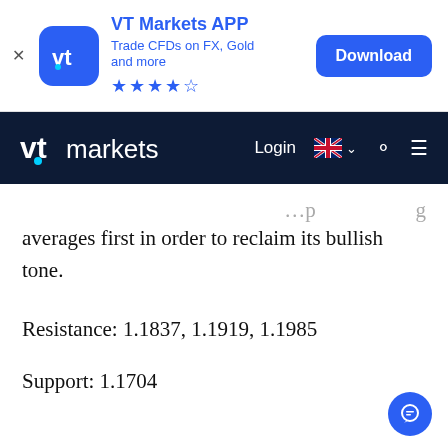[Figure (screenshot): VT Markets app banner with logo, app name, description, star rating, and Download button]
[Figure (screenshot): VT Markets website navigation bar with logo, Login, UK flag language selector, search icon, and hamburger menu]
averages first in order to reclaim its bullish tone.
Resistance: 1.1837, 1.1919, 1.1985
Support: 1.1704